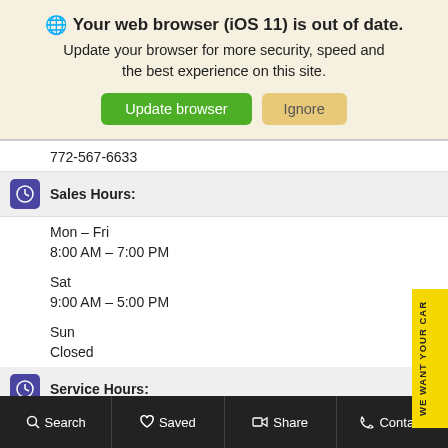[Figure (screenshot): Browser update banner with globe icon, bold warning text, and two buttons: 'Update browser' (green) and 'Ignore' (tan)]
772-567-6633
Sales Hours:
Mon – Fri
8:00 AM – 7:00 PM
Sat
9:00 AM – 5:00 PM
Sun
Closed
Service Hours:
Mon – Fri
7:00 AM – 6:00 PM
Sat
8:00 AM – 4:00 PM
Search   Saved   Share   Contact